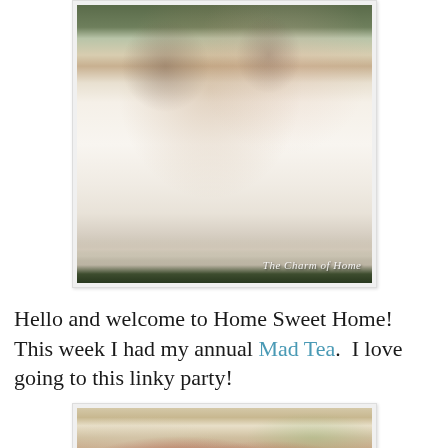[Figure (photo): Outdoor tea table set with white lace tablecloth, floral arrangements, teacups, and lantern centerpiece. Watermark reads 'The Charm of Home'.]
Hello and welcome to Home Sweet Home!  This week I had my annual Mad Tea.  I love going to this linky party!
[Figure (photo): Close-up of a baked tomato tart or quiche in a white ceramic dish, showing sliced tomatoes with herbs on a pastry crust.]